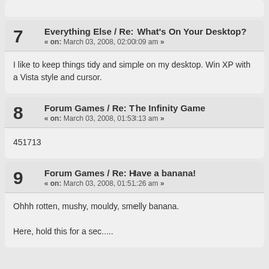7 Everything Else / Re: What's On Your Desktop? « on: March 03, 2008, 02:00:09 am »
I like to keep things tidy and simple on my desktop. Win XP with a Vista style and cursor.
8 Forum Games / Re: The Infinity Game « on: March 03, 2008, 01:53:13 am »
451713
9 Forum Games / Re: Have a banana! « on: March 03, 2008, 01:51:26 am »
Ohhh rotten, mushy, mouldy, smelly banana.

Here, hold this for a sec.....